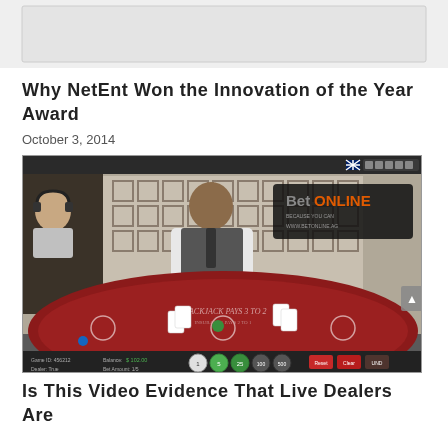[Figure (other): Gray advertisement banner placeholder at the top of the page]
Why NetEnt Won the Innovation of the Year Award
October 3, 2014
[Figure (screenshot): Screenshot of a live dealer blackjack game on BetOnline casino platform, showing a smiling dealer at a red blackjack table with cards and chips, and a player visible in the top-left corner wearing headphones. Balance shown as $102.00.]
Is This Video Evidence That Live Dealers Are